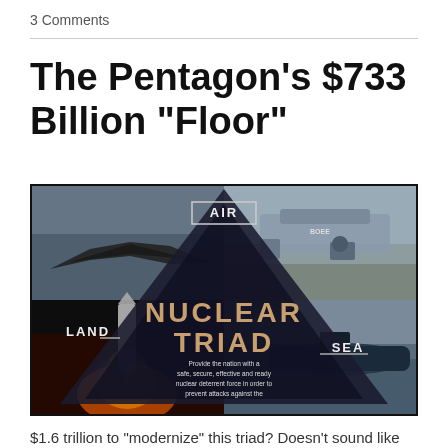3 Comments
The Pentagon’s $733 Billion “Floor”
[Figure (infographic): Nuclear Triad infographic showing AIR (stealth bomber and B-52), LAND (missile launch), and SEA (submarine) components arranged around a dark triangle, with text: Provide the nation with a safe, secure, effective and ready nuclear deterrent force in order to prevent attacks against the United States and provide assurance to our allies]
$1.6 trillion to “modernize” this triad?  Doesn’t sound like